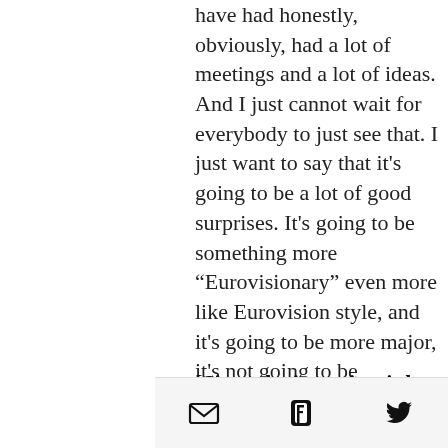have had honestly, obviously, had a lot of meetings and a lot of ideas. And I just cannot wait for everybody to just see that. I just want to say that it's going to be a lot of good surprises. It's going to be something more “Eurovisionary” even more like Eurovision style, and it's going to be more major, it's not going to be something very typical and simple. We're really putting a lot of effort into staging and vocal performance this year. So we're gonna make sure that all that is good.
[Since the interview it has been revealed that due to production issues Nick can no longer collaborate with
[Figure (other): Social sharing toolbar with email, Facebook, and Twitter icons]